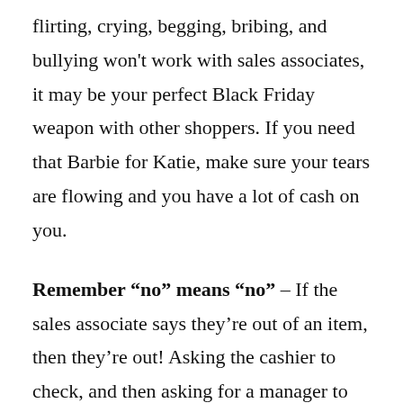flirting, crying, begging, bribing, and bullying won't work with sales associates, it may be your perfect Black Friday weapon with other shoppers. If you need that Barbie for Katie, make sure your tears are flowing and you have a lot of cash on you.
Remember “no” means “no” – If the sales associate says they’re out of an item, then they’re out! Asking the cashier to check, and then asking for a manager to do the same thing is going to waste everybody’s time. Including yours. And no, they do NOT hold certain amounts of items in the back for the